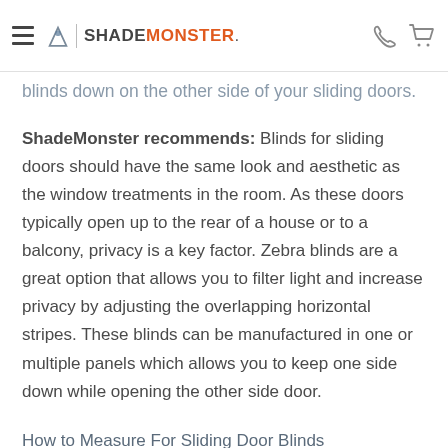SHADEMONSTER
blinds down on the other side of your sliding doors.
ShadeMonster recommends: Blinds for sliding doors should have the same look and aesthetic as the window treatments in the room. As these doors typically open up to the rear of a house or to a balcony, privacy is a key factor. Zebra blinds are a great option that allows you to filter light and increase privacy by adjusting the overlapping horizontal stripes. These blinds can be manufactured in one or multiple panels which allows you to keep one side down while opening the other side door.
How to Measure For Sliding Door Blinds